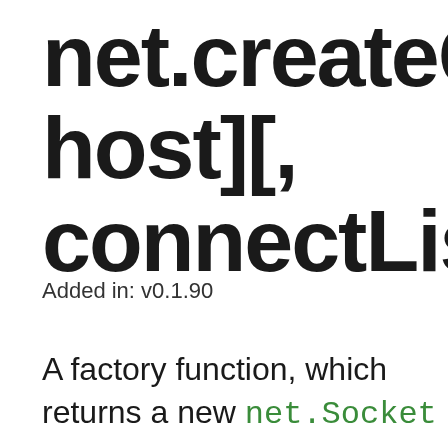net.createCon host][, connectListen
Added in: v0.1.90
A factory function, which returns a new net.Socket